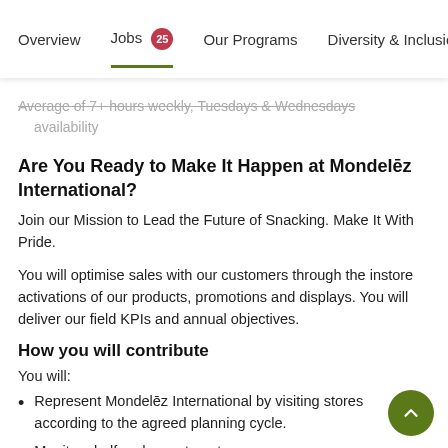Overview  Jobs 25  Our Programs  Diversity & Inclusion
Average of 7+ hours weekly, Tuesdays & Wednesdays availability
Are You Ready to Make It Happen at Mondelēz International?
Join our Mission to Lead the Future of Snacking. Make It With Pride.
You will optimise sales with our customers through the instore activations of our products, promotions and displays. You will deliver our field KPIs and annual objectives.
How you will contribute
You will:
Represent Mondelēz International by visiting stores according to the agreed planning cycle.
Monitor shelf and assortment.